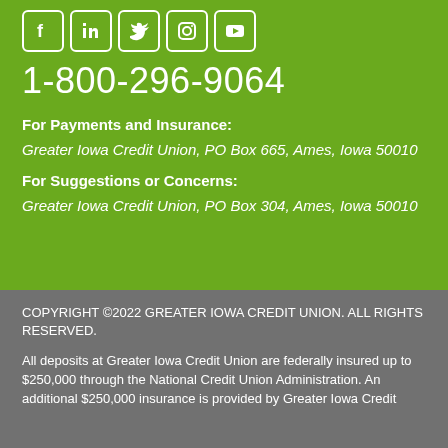[Figure (illustration): Social media icons (Facebook, LinkedIn, Twitter, Instagram, YouTube) in white on green background with rounded square borders]
1-800-296-9064
For Payments and Insurance:
Greater Iowa Credit Union, PO Box 665, Ames, Iowa 50010
For Suggestions or Concerns:
Greater Iowa Credit Union, PO Box 304, Ames, Iowa 50010
COPYRIGHT ©2022 GREATER IOWA CREDIT UNION. ALL RIGHTS RESERVED.
All deposits at Greater Iowa Credit Union are federally insured up to $250,000 through the National Credit Union Administration. An additional $250,000 insurance is provided by Greater Iowa Credit